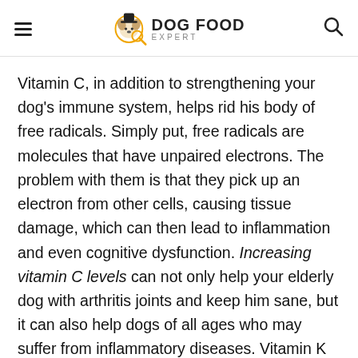DOG FOOD EXPERT
Vitamin C, in addition to strengthening your dog's immune system, helps rid his body of free radicals. Simply put, free radicals are molecules that have unpaired electrons. The problem with them is that they pick up an electron from other cells, causing tissue damage, which can then lead to inflammation and even cognitive dysfunction. Increasing vitamin C levels can not only help your elderly dog with arthritis joints and keep him sane, but it can also help dogs of all ages who may suffer from inflammatory diseases. Vitamin K helps your dog's